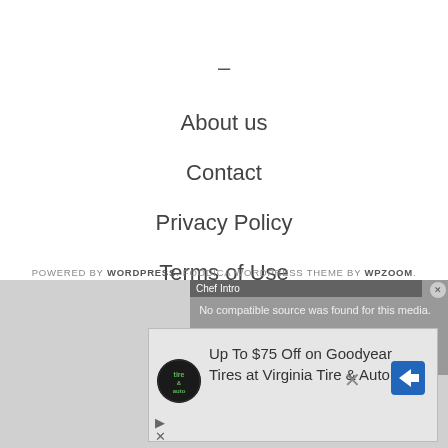–
About us
Contact
Privacy Policy
Terms of Use
POWERED BY WORDPRESS. FOODICA WORDPRESS THEME BY WPZOOM.
[Figure (screenshot): Advertisement overlay with video player showing 'Chef Intro' title, 'No compatible source was found for this media.' message, and an ad banner for 'Up To $75 Off on Goodyear Tires at Virginia Tire & Auto' with Virginia Tire & Auto logo and blue direction sign icon.]